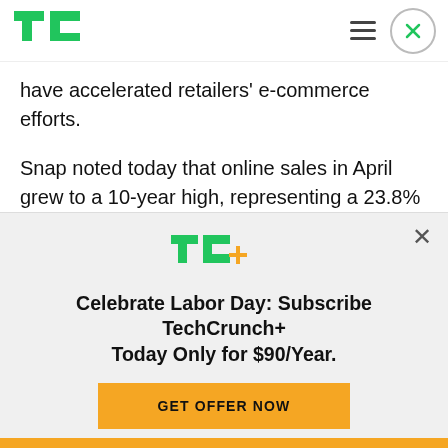[Figure (logo): TechCrunch TC logo in green, top left header]
have accelerated retailers' e-commerce efforts.
Snap noted today that online sales in April grew to a 10-year high, representing a 23.8% year-over-year increase, according to data from IMRG (Interactive Media in Retail Group).
Ahead of today’s international expansion, the ad
[Figure (logo): TechCrunch+ TC+ logo in green and orange]
Celebrate Labor Day: Subscribe TechCrunch+ Today Only for $90/Year.
GET OFFER NOW